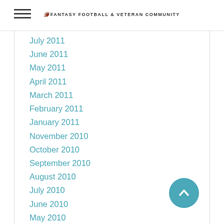FANTASY FOOTBALL & VETERAN COMMUNITY
July 2011
June 2011
May 2011
April 2011
March 2011
February 2011
January 2011
November 2010
October 2010
September 2010
August 2010
July 2010
June 2010
May 2010
April 2010
March 2010
August 2006